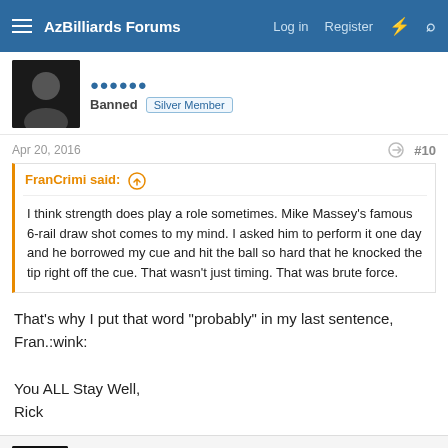AzBilliards Forums  Log in  Register
Banned  Silver Member
Apr 20, 2016  #10
FranCrimi said: ↑
I think strength does play a role sometimes. Mike Massey's famous 6-rail draw shot comes to my mind. I asked him to perform it one day and he borrowed my cue and hit the ball so hard that he knocked the tip right off the cue. That wasn't just timing. That was brute force.
That's why I put that word "probably" in my last sentence, Fran.:wink:

You ALL Stay Well,
Rick
HawaiianEye